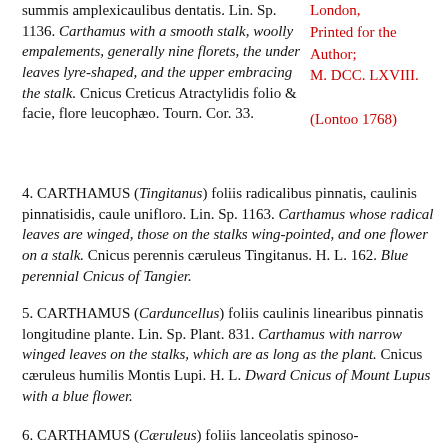summis amplexicaulibus dentatis. Lin. Sp. 1136. Carthamus with a smooth stalk, woolly empalements, generally nine florets, the under leaves lyre-shaped, and the upper embracing the stalk. Cnicus Creticus Atractylidis folio & facie, flore leucophæo. Tourn. Cor. 33.
London, Printed for the Author; M. DCC. LXVIII. (Lontoo 1768)
4. CARTHAMUS (Tingitanus) foliis radicalibus pinnatis, caulinis pinnatisidis, caule unifloro. Lin. Sp. 1163. Carthamus whose radical leaves are winged, those on the stalks wing-pointed, and one flower on a stalk. Cnicus perennis cæruleus Tingitanus. H. L. 162. Blue perennial Cnicus of Tangier.
5. CARTHAMUS (Carduncellus) foliis caulinis linearibus pinnatis longitudine plante. Lin. Sp. Plant. 831. Carthamus with narrow winged leaves on the stalks, which are as long as the plant. Cnicus cæruleus humilis Montis Lupi. H. L. Dward Cnicus of Mount Lupus with a blue flower.
6. CARTHAMUS (Cæruleus) foliis lanceolatis spinoso-